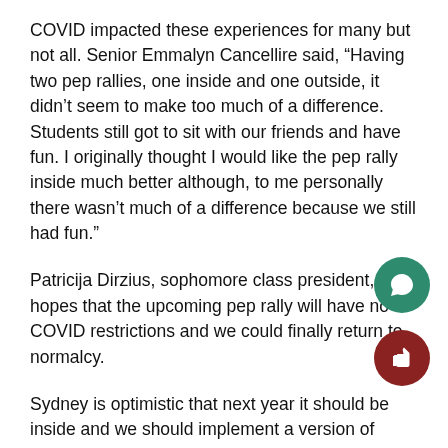COVID impacted these experiences for many but not all. Senior Emmalyn Cancellire said, “Having two pep rallies, one inside and one outside, it didn’t seem to make too much of a difference.  Students still got to sit with our friends and have fun. I originally thought I would like the pep rally inside much better although, to me personally there wasn’t much of a difference because we still had fun.”
Patricija Dirzius, sophomore class president, has hopes that the upcoming pep rally will have no COVID restrictions and we could finally return to normalcy.
Sydney is optimistic that next year it should be inside and we should implement a version of Battle of the Classes throughout the pep rally.
Student Government advisor, Mrs. Luciano, explai both the unpredictability of the COVID pandemic an